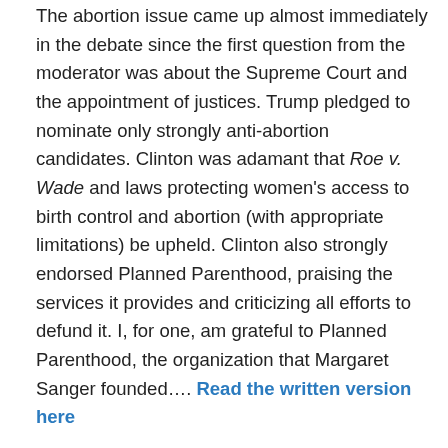The abortion issue came up almost immediately in the debate since the first question from the moderator was about the Supreme Court and the appointment of justices. Trump pledged to nominate only strongly anti-abortion candidates. Clinton was adamant that Roe v. Wade and laws protecting women's access to birth control and abortion (with appropriate limitations) be upheld. Clinton also strongly endorsed Planned Parenthood, praising the services it provides and criticizing all efforts to defund it. I, for one, am grateful to Planned Parenthood, the organization that Margaret Sanger founded…. Read the written version here
Ordinary Philosophy and its Traveling Philosophy / History of Ideas series is a labor of love and ad-free, supported by patrons and readers like you. Please offer your support today!